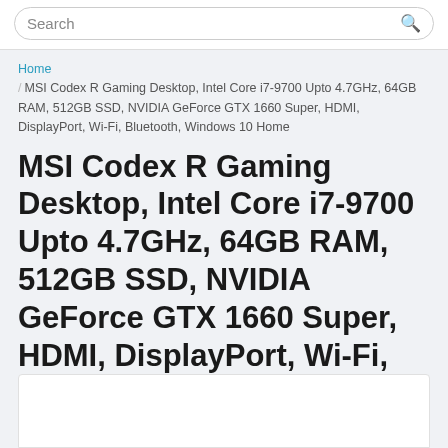Search
Home / MSI Codex R Gaming Desktop, Intel Core i7-9700 Upto 4.7GHz, 64GB RAM, 512GB SSD, NVIDIA GeForce GTX 1660 Super, HDMI, DisplayPort, Wi-Fi, Bluetooth, Windows 10 Home
MSI Codex R Gaming Desktop, Intel Core i7-9700 Upto 4.7GHz, 64GB RAM, 512GB SSD, NVIDIA GeForce GTX 1660 Super, HDMI, DisplayPort, Wi-Fi, Bluetooth, Windows 10 Home
[Figure (other): White image placeholder box at the bottom of the page]